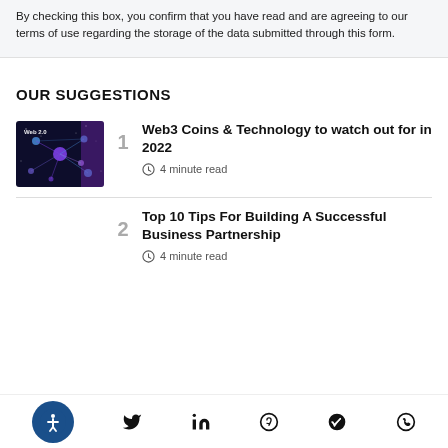By checking this box, you confirm that you have read and are agreeing to our terms of use regarding the storage of the data submitted through this form.
OUR SUGGESTIONS
[Figure (photo): Dark blue thumbnail image showing Web 2.0 network diagram with nodes and connections, labeled 'Web 2.0']
1  Web3 Coins & Technology to watch out for in 2022  4 minute read
2  Top 10 Tips For Building A Successful Business Partnership  4 minute read
Accessibility | Twitter | LinkedIn | Pinterest | Telegram | WhatsApp